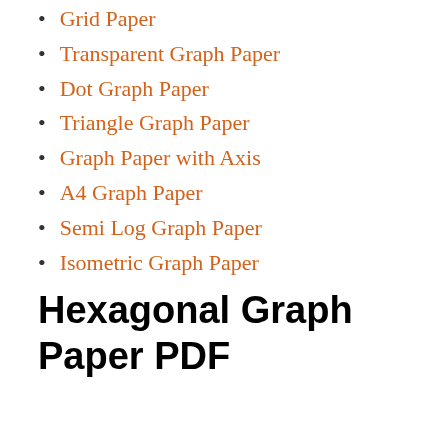Grid Paper
Transparent Graph Paper
Dot Graph Paper
Triangle Graph Paper
Graph Paper with Axis
A4 Graph Paper
Semi Log Graph Paper
Isometric Graph Paper
Hexagonal Graph Paper PDF